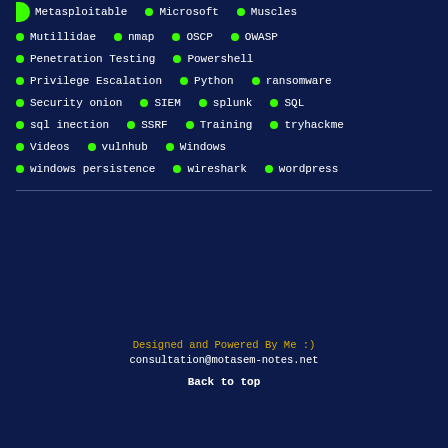Metasploitable • Microsoft • Muscles
Mutillidae • nmap • OSCP • OWASP
Penetration Testing • Powershell
Privilege Escalation • Python • ransomware
Security onion • SIEM • splunk • SQL
sql inection • SSRF • Training • tryhackme
Videos • vulnhub • Windows
windows persistence • wireshark • wordpress
Designed and Powered By Me :)
consultation@motasem-notes.net
Back to top